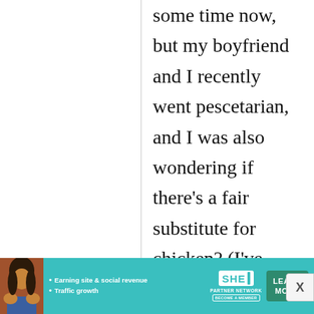some time now, but my boyfriend and I recently went pescetarian, and I was also wondering if there's a fair substitute for chicken? (I've seen octopus and squid, but I'm not sure if these are the most
[Figure (other): Advertisement banner for SHE Partner Network with a woman photo, text 'Earning site & social revenue', 'Traffic growth', SHE logo, and a green LEARN MORE button]